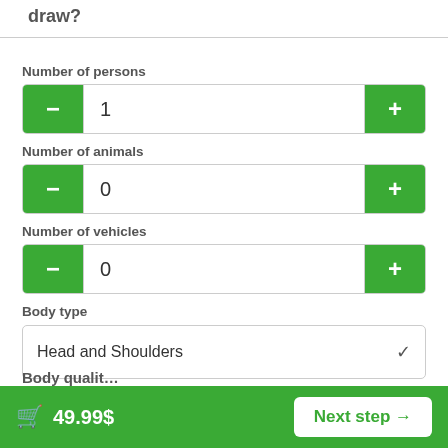draw?
Number of persons
1
Number of animals
0
Number of vehicles
0
Body type
Head and Shoulders
Body qualit…
🛒 49.99$   Next step →